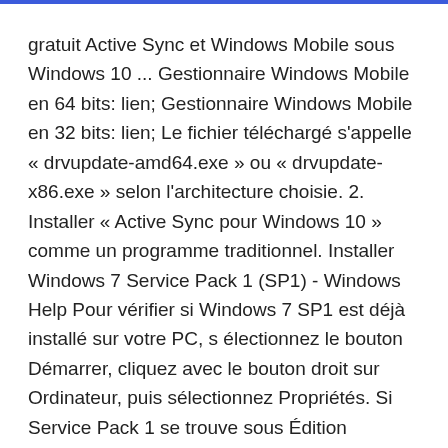gratuit Active Sync et Windows Mobile sous Windows 10 ... Gestionnaire Windows Mobile en 64 bits: lien; Gestionnaire Windows Mobile en 32 bits: lien; Le fichier téléchargé s'appelle « drvupdate-amd64.exe » ou « drvupdate-x86.exe » selon l'architecture choisie. 2. Installer « Active Sync pour Windows 10 » comme un programme traditionnel. Installer Windows 7 Service Pack 1 (SP1) - Windows Help Pour vérifier si Windows 7 SP1 est déjà installé sur votre PC, s électionnez le bouton Démarrer, cliquez avec le bouton droit sur Ordinateur, puis sélectionnez Propriétés. Si Service Pack 1 se trouve sous Édition Windows, SP1 est déjà